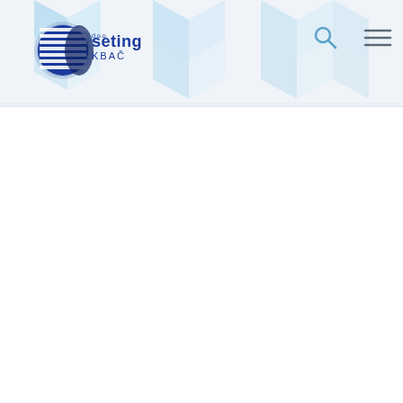[Figure (logo): Seting KBAC company logo with blue circular graphic and horizontal lines, with text 'seting d.o.o.' and 'KBAC' below]
[Figure (illustration): Navigation header with light blue geometric diamond/hexagon shapes pattern background, search icon (magnifying glass) and hamburger menu icon on the right side]